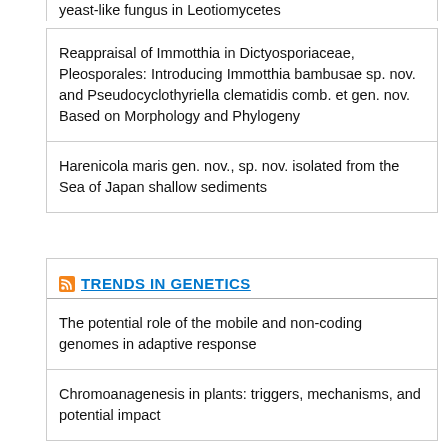yeast-like fungus in Leotiomycetes
Reappraisal of Immotthia in Dictyosporiaceae, Pleosporales: Introducing Immotthia bambusae sp. nov. and Pseudocyclothyriella clematidis comb. et gen. nov. Based on Morphology and Phylogeny
Harenicola maris gen. nov., sp. nov. isolated from the Sea of Japan shallow sediments
TRENDS IN GENETICS
The potential role of the mobile and non-coding genomes in adaptive response
Chromoanagenesis in plants: triggers, mechanisms, and potential impact